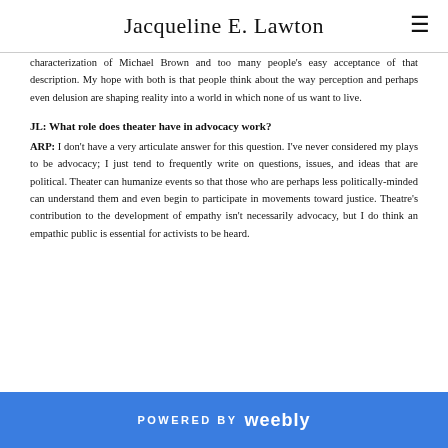Jacqueline E. Lawton
characterization of Michael Brown and too many people's easy acceptance of that description. My hope with both is that people think about the way perception and perhaps even delusion are shaping reality into a world in which none of us want to live.
JL: What role does theater have in advocacy work?
ARP: I don't have a very articulate answer for this question. I've never considered my plays to be advocacy; I just tend to frequently write on questions, issues, and ideas that are political. Theater can humanize events so that those who are perhaps less politically-minded can understand them and even begin to participate in movements toward justice. Theatre's contribution to the development of empathy isn't necessarily advocacy, but I do think an empathic public is essential for activists to be heard.
POWERED BY weebly